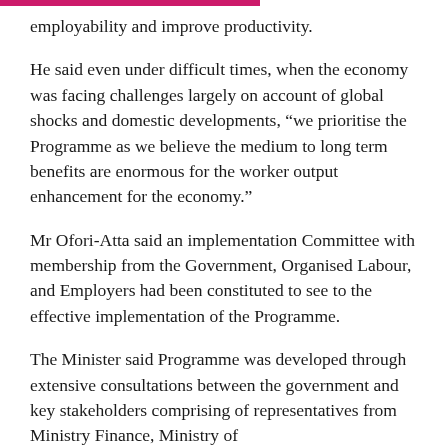employability and improve productivity.
He said even under difficult times, when the economy was facing challenges largely on account of global shocks and domestic developments, “we prioritise the Programme as we believe the medium to long term benefits are enormous for the worker output enhancement for the economy.”
Mr Ofori-Atta said an implementation Committee with membership from the Government, Organised Labour, and Employers had been constituted to see to the effective implementation of the Programme.
The Minister said Programme was developed through extensive consultations between the government and key stakeholders comprising of representatives from Ministry Finance, Ministry of